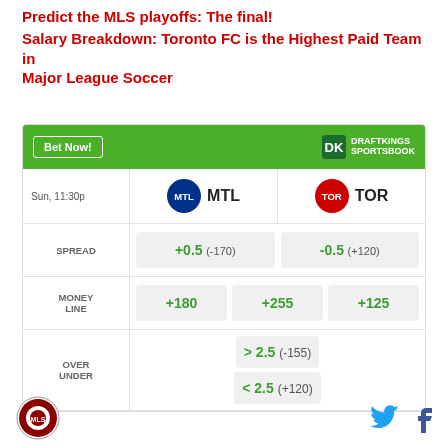Predict the MLS playoffs: The final!
Salary Breakdown: Toronto FC is the Highest Paid Team in Major League Soccer
|  | MTL | TOR |
| --- | --- | --- |
| SPREAD | +0.5  (-170) | -0.5  (+120) |
| MONEY LINE | +180 | +255 / +125 |
| OVER UNDER | > 2.5  (-155) | < 2.5  (+120) |
Logo | Twitter | Facebook